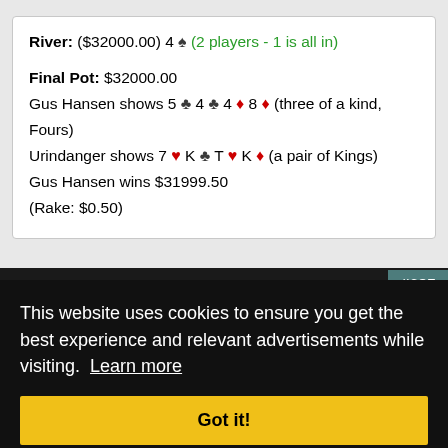River: ($32000.00) 4 ♠ (2 players - 1 is all in)
Final Pot: $32000.00
Gus Hansen shows 5 ♣ 4 ♣ 4 ♦ 8 ♦ (three of a kind, Fours)
Urindanger shows 7 ♥ K ♣ T ♥ K ♦ (a pair of Kings)
Gus Hansen wins $31999.50
(Rake: $0.50)
#685
This website uses cookies to ensure you get the best experience and relevant advertisements while visiting. Learn more
Got it!
of a
[ ] Urindanger is a bumhunter